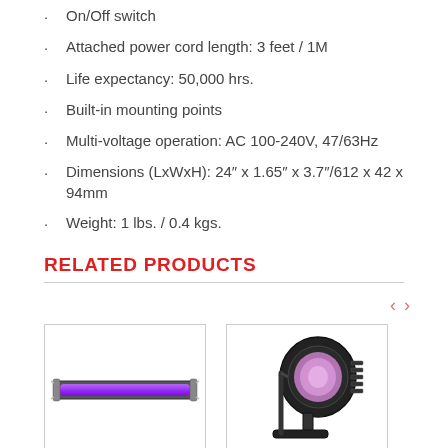On/Off switch
Attached power cord length: 3 feet / 1M
Life expectancy: 50,000 hrs.
Built-in mounting points
Multi-voltage operation: AC 100-240V, 47/63Hz
Dimensions (LxWxH): 24″ x 1.65″ x 3.7″/612 x 42 x 94mm
Weight: 1 lbs. / 0.4 kgs.
RELATED PRODUCTS
[Figure (photo): UV blacklight fluorescent tube fixture, horizontal, with purple/violet glow]
[Figure (photo): Black spotlight/PAR can LED fixture with purple/pink COB lens, mounted on stand bracket]